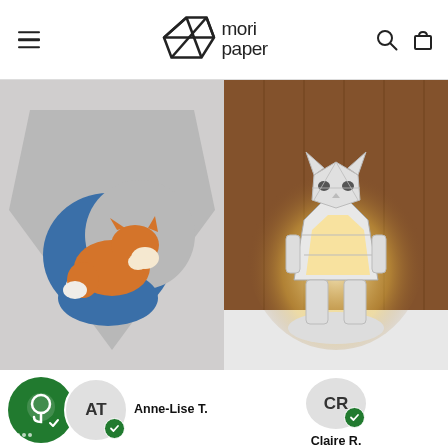mori paper — navigation header with hamburger menu, logo, search and cart icons
[Figure (photo): Paper craft fox sleeping on a blue crescent moon, wall-mounted on a gray pentagon-shaped panel]
[Figure (photo): Paper craft white cat lamp glowing with warm light, sitting on a white surface against a wooden panel background]
Anne-Lise T.
Claire R.